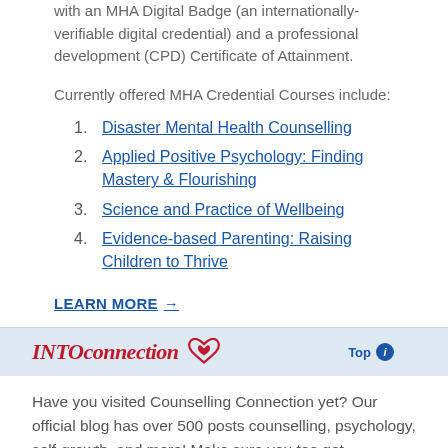with an MHA Digital Badge (an internationally-verifiable digital credential) and a professional development (CPD) Certificate of Attainment.
Currently offered MHA Credential Courses include:
Disaster Mental Health Counselling
Applied Positive Psychology: Finding Mastery & Flourishing
Science and Practice of Wellbeing
Evidence-based Parenting: Raising Children to Thrive
LEARN MORE →
INTOconnection  Top
Have you visited Counselling Connection yet? Our official blog has over 500 posts counselling, psychology, self-growth, and more! Make sure you too get